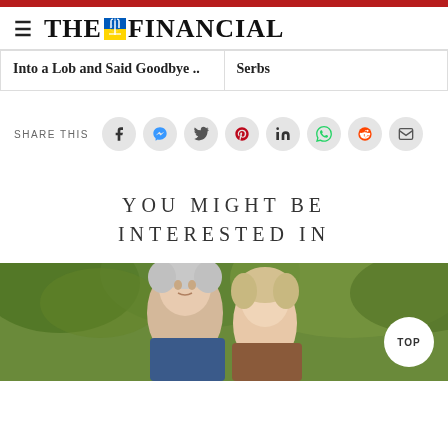THE FINANCIAL
Into a Lob and Said Goodbye ..
Serbs
SHARE THIS
YOU MIGHT BE INTERESTED IN
[Figure (photo): Older man and woman outdoors among green trees, bottom section of page]